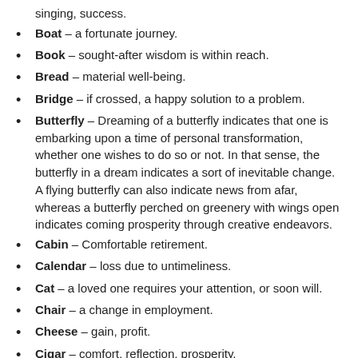singing, success.
Boat – a fortunate journey.
Book – sought-after wisdom is within reach.
Bread – material well-being.
Bridge – if crossed, a happy solution to a problem.
Butterfly – Dreaming of a butterfly indicates that one is embarking upon a time of personal transformation, whether one wishes to do so or not. In that sense, the butterfly in a dream indicates a sort of inevitable change. A flying butterfly can also indicate news from afar, whereas a butterfly perched on greenery with wings open indicates coming prosperity through creative endeavors.
Cabin – Comfortable retirement.
Calendar – loss due to untimeliness.
Cat – a loved one requires your attention, or soon will.
Chair – a change in employment.
Cheese – gain, profit.
Cigar – comfort, reflection, prosperity.
Crab – separation.
Desk – if one is working at a desk, it means one should